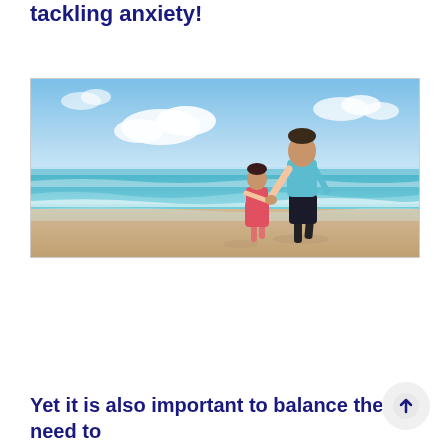tackling anxiety!
[Figure (photo): A man and a young child holding hands walking toward the ocean on a sandy beach. The man wears a light blue shirt and black shorts; the child wears a pink outfit. The sky is blue with white clouds and the sea is turquoise.]
Yet it is also important to balance the need to